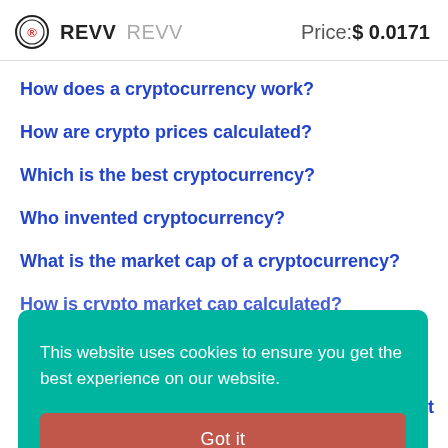REVV REVV   Price: $ 0.0171
How does a cryptocurrency work?
How are crypto prices calculated?
Which is the best cryptocurrency?
Who invented cryptocurrency?
What is the market cap of a cryptocurrency?
How is crypto market cap calculated?
[Figure (screenshot): Cookie consent banner with teal background reading 'This website uses cookies to ensure you get the best experience on our website.' and a red 'Got it' button]
What is cryptocurrency circulating supply?